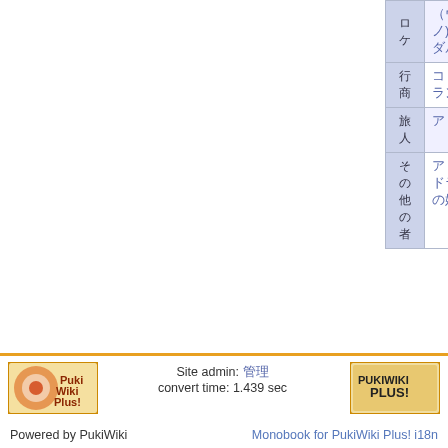|  |  |
| --- | --- |
| ロ
ケ | （ウィリアム） - （エリ
ノ) - (ランダール) - ラン
ダルフ - 兄 - 従姉 |
| 行
商 | コリンズファザリー - パジェット - ブ
ランチェスター |
| 旅
人 | アリスとサーカス - ロシア |
| そ
の
他
の
者 | アリスメイドファミリー - (エドワー
ドランダール) - (ランダール
の妹) |
*1 なおALICEシリーズのファンサイト等によると、
キリン
*2 エドワードランダール等のキャラクターは
1357年前と853年前に登場したキャラクターです
*3 なおランダールなどが登場するのはALICEシ
リーズのみです